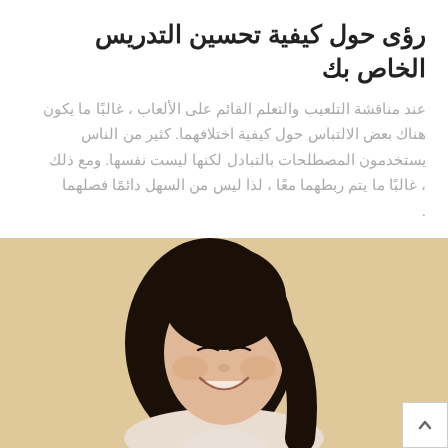رؤى حول كيفية تحسين التدريس الخاص بك
عند مناقشة التلعيب والتعلم القائم على الألعاب ، غالبًا ما يكون هناك بعض الالتباس حول كيفية اختلافهما. كثير من الناس يستخدمون المصطلحات بالتبادل لكنها ليست نفسها. ومع ذلك ، غالبًا ما يتم ربطهما معًا ، لذا ليس من السهل دائمًا فصلهما
FATOUMATA TOURE   2   543
[Figure (photo): A smiling young Asian woman with long dark hair, wearing a light-colored top, photographed against a warm beige background.]